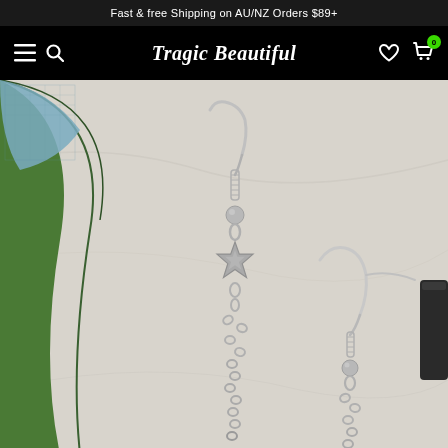Fast & free Shipping on AU/NZ Orders $89+
Tragic Beautiful
[Figure (photo): Close-up product photo of silver star charm drop earrings on a light marble surface with green decorative leaves in background]